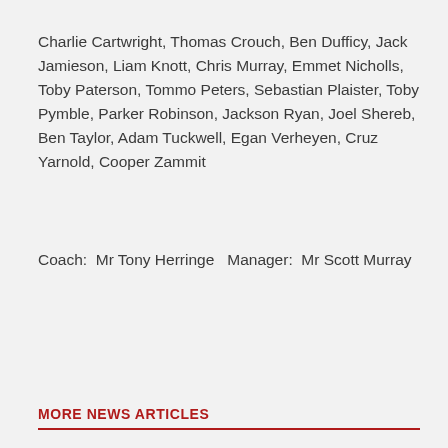Charlie Cartwright, Thomas Crouch, Ben Dufficy, Jack Jamieson, Liam Knott, Chris Murray, Emmet Nicholls, Toby Paterson, Tommo Peters, Sebastian Plaister, Toby Pymble, Parker Robinson, Jackson Ryan, Joel Shereb, Ben Taylor, Adam Tuckwell, Egan Verheyen, Cruz Yarnold, Cooper Zammit
Coach:  Mr Tony Herringe   Manager:  Mr Scott Murray
MORE NEWS ARTICLES